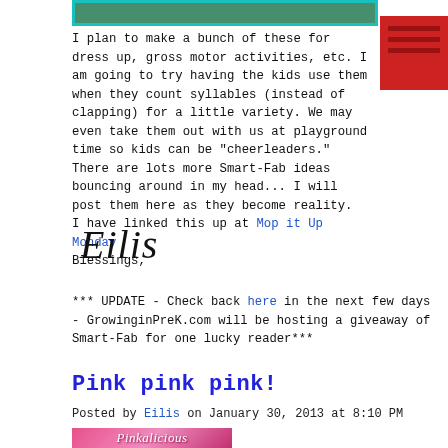[Figure (photo): Top portion of a photo with teal/cyan border, partially visible]
I plan to make a bunch of these for dress up, gross motor activities, etc. I am going to try having the kids use them when they count syllables (instead of clapping) for a little variety. We may even take them out with us at playground time so kids can be "cheerleaders." There are lots more Smart-Fab ideas bouncing around in my head... I will post them here as they become reality.
I have linked this up at Mop it Up Monday
Blessings,
[Figure (photo): Handwritten cursive signature reading 'Eilis']
*** UPDATE - Check back here in the next few days - GrowinginPreK.com will be hosting a giveaway of Smart-Fab for one lucky reader***
Pink pink pink!
Posted by Eilis on January 30, 2013 at 8:10 PM
[Figure (photo): Pinkalicious book cover, pink background with decorative text]